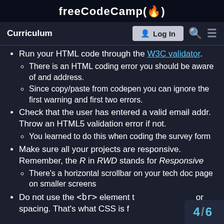freeCodeCamp(🔥)
Curriculum  Log In
Run your HTML code through the W3C validator.
There is an HTML coding error you should be aware of and address.
Since copy/paste from codepen you can ignore the first warning and first two errors.
Check that the user has entered a valid email addr. Throw an HTML5 validation error if not.
You learned to do this when coding the survey form
Make sure all your projects are responsive. Remember, the R in RWD stands for Responsive
There's a horizontal scrollbar on your tech doc page on smaller screens
Do not use the <br> element t or spacing. That's what CSS is f
4 / 6